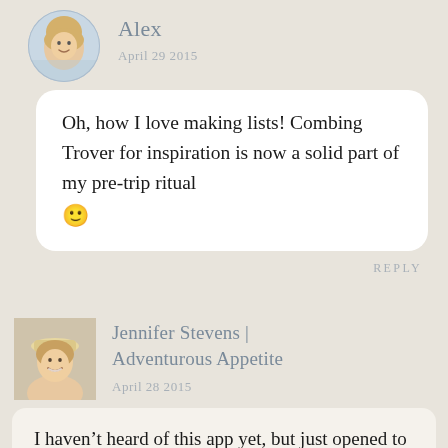[Figure (photo): Circular avatar photo of a blonde woman named Alex]
Alex
April 29 2015
Oh, how I love making lists! Combing Trover for inspiration is now a solid part of my pre-trip ritual 🙂
REPLY
[Figure (photo): Square avatar photo of a smiling woman wearing a hat, Jennifer Stevens]
Jennifer Stevens | Adventurous Appetite
April 28 2015
I haven't heard of this app yet, but just opened to check it out! Thanks for the tips. And, yes, planning is so much fun! I'm even